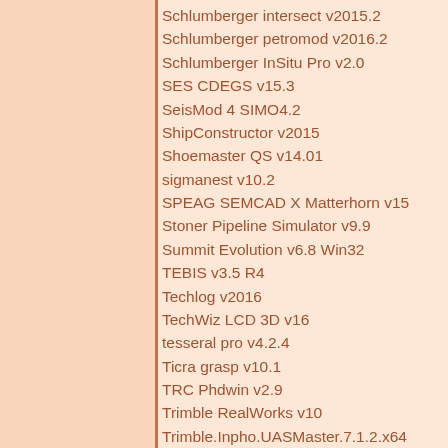Schlumberger intersect v2015.2
Schlumberger petromod v2016.2
Schlumberger InSitu Pro v2.0
SES CDEGS v15.3
SeisMod 4 SIMO4.2
ShipConstructor v2015
Shoemaster QS v14.01
sigmanest v10.2
SPEAG SEMCAD X Matterhorn v15
Stoner Pipeline Simulator v9.9
Summit Evolution v6.8 Win32
TEBIS v3.5 R4
Techlog v2016
TechWiz LCD 3D v16
tesseral pro v4.2.4
Ticra grasp v10.1
TRC Phdwin v2.9
Trimble RealWorks v10
Trimble.Inpho.UASMaster.7.1.2.x64
Trimble.Inpho.Photogrammetry.7.1.2.x64